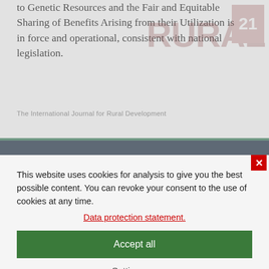to Genetic Resources and the Fair and Equitable Sharing of Benefits Arising from their Utilization is in force and operational, consistent with national legislation.
The International Journal for Rural Development
Subscribe to Rural 21 Newsletter - for free!
Our topics keep you up to date in all topics about rural development in the Global South.
This website uses cookies for analysis to give you the best possible content. You can revoke your consent to the use of cookies at any time.
Data protection statement.
Accept all
Settings
innovations and practices of indigenous and local communities relevant for the conservation and sustainable use of biodiversity, and their customary use of biological resources, are respected, subject to national legislation and relevant international...